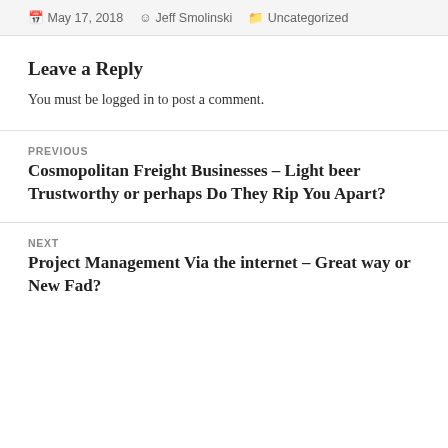May 17, 2018   Jeff Smolinski   Uncategorized
Leave a Reply
You must be logged in to post a comment.
PREVIOUS
Cosmopolitan Freight Businesses – Light beer Trustworthy or perhaps Do They Rip You Apart?
NEXT
Project Management Via the internet – Great way or New Fad?